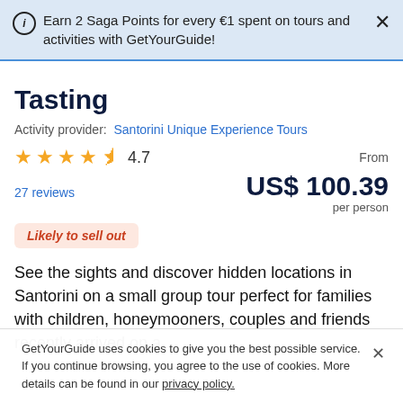Earn 2 Saga Points for every €1 spent on tours and activities with GetYourGuide!
Tasting
Activity provider: Santorini Unique Experience Tours
★★★★½ 4.7
From US$ 100.39 per person
27 reviews
Likely to sell out
See the sights and discover hidden locations in Santorini on a small group tour perfect for families with children, honeymooners, couples and friends recently arrived on a
GetYourGuide uses cookies to give you the best possible service. If you continue browsing, you agree to the use of cookies. More details can be found in our privacy policy.